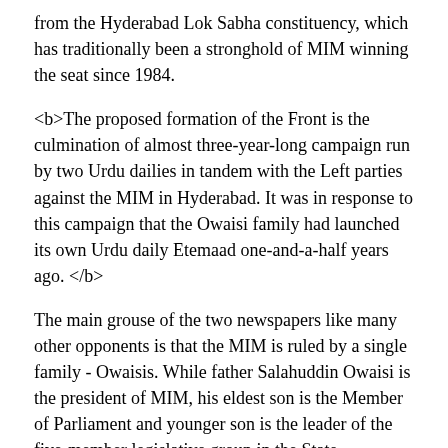from the Hyderabad Lok Sabha constituency, which has traditionally been a stronghold of MIM winning the seat since 1984.
<b>The proposed formation of the Front is the culmination of almost three-year-long campaign run by two Urdu dailies in tandem with the Left parties against the MIM in Hyderabad. It was in response to this campaign that the Owaisi family had launched its own Urdu daily Etemaad one-and-a-half years ago. </b>
The main grouse of the two newspapers like many other opponents is that the MIM is ruled by a single family - Owaisis. While father Salahuddin Owaisi is the president of MIM, his eldest son is the Member of Parliament and younger son is the leader of the five-member legislative group in the State Assembly.
Lateef Khan, addressing a group of his supporters in Hyderabad, welcomed the move of Zahid Ali Khan and alleged that the MIM had exploited the Muslim community for its own benefit and amassed crores of rupees.
<b>The issue of the Bangladeshi writer Taslima Nasreen has also triggered a holier than thou race with each trying to surpass the other in targeting, condemning and threatening the writer. Ironically, while the Left parties condemned the attack on Taslima